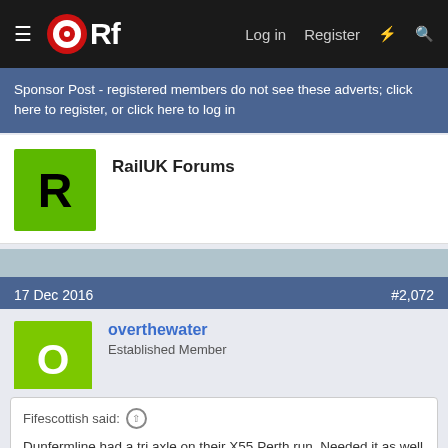ORf — Log in  Register
Sponsor Post - registered members do not see these adverts; click here to register, or click here to log in
RailUK Forums
17 Dec 2016  #2,072
overthewater
Established Member
Fifescottish said:
Dunfermline had a tri axle on their X55 Perth run. Needed it as well as it was full leaving Edinburgh around 4 pm.